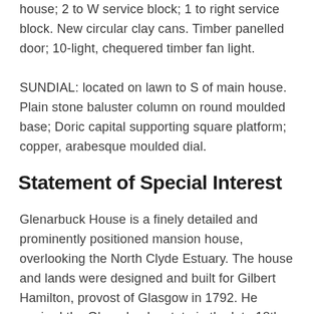house; 2 to W service block; 1 to right service block. New circular clay cans. Timber panelled door; 10-light, chequered timber fan light.
SUNDIAL: located on lawn to S of main house. Plain stone baluster column on round moulded base; Doric capital supporting square platform; copper, arabesque moulded dial.
Statement of Special Interest
Glenarbuck House is a finely detailed and prominently positioned mansion house, overlooking the North Clyde Estuary. The house and lands were designed and built for Gilbert Hamilton, provost of Glasgow in 1792. He aquired the Glenarbuck estate in the late 18th century, and built this mansion house soon after. The house is in a popular neo-classical design, with similar